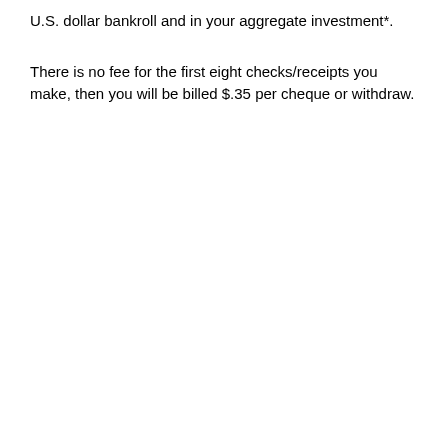U.S. dollar bankroll and in your aggregate investment*.
There is no fee for the first eight checks/receipts you make, then you will be billed $.35 per cheque or withdraw.